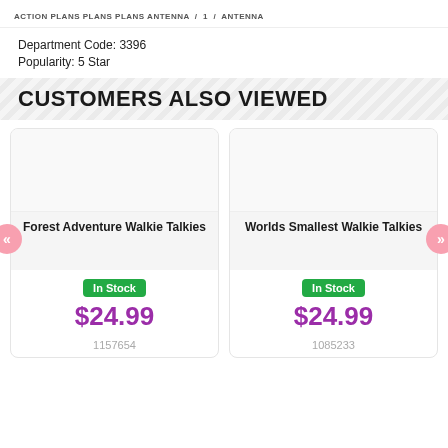Action plans plans plans antenna / 1 / antenna
Department Code: 3396
Popularity: 5 Star
CUSTOMERS ALSO VIEWED
Forest Adventure Walkie Talkies
In Stock
$24.99
1157654
Worlds Smallest Walkie Talkies
In Stock
$24.99
1085233